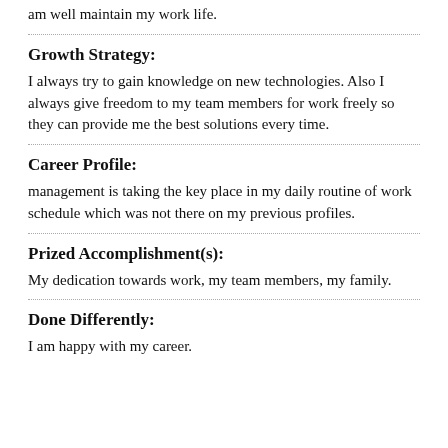am well maintain my work life.
Growth Strategy:
I always try to gain knowledge on new technologies. Also I always give freedom to my team members for work freely so they can provide me the best solutions every time.
Career Profile:
management is taking the key place in my daily routine of work schedule which was not there on my previous profiles.
Prized Accomplishment(s):
My dedication towards work, my team members, my family.
Done Differently:
I am happy with my career.